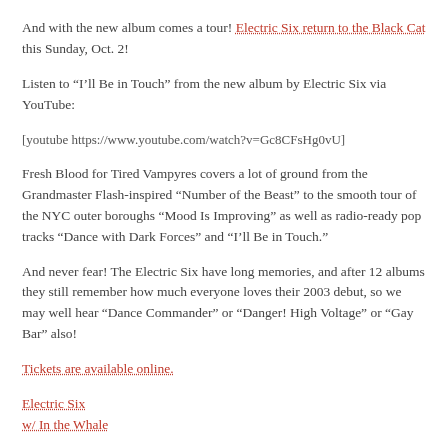And with the new album comes a tour! Electric Six return to the Black Cat this Sunday, Oct. 2!
Listen to “I’ll Be in Touch” from the new album by Electric Six via YouTube:
[youtube https://www.youtube.com/watch?v=Gc8CFsHg0vU]
Fresh Blood for Tired Vampyres covers a lot of ground from the Grandmaster Flash-inspired “Number of the Beast” to the smooth tour of the NYC outer boroughs “Mood Is Improving” as well as radio-ready pop tracks “Dance with Dark Forces” and “I’ll Be in Touch.”
And never fear! The Electric Six have long memories, and after 12 albums they still remember how much everyone loves their 2003 debut, so we may well hear “Dance Commander” or “Danger! High Voltage” or “Gay Bar” also!
Tickets are available online.
Electric Six
w/ In the Whale